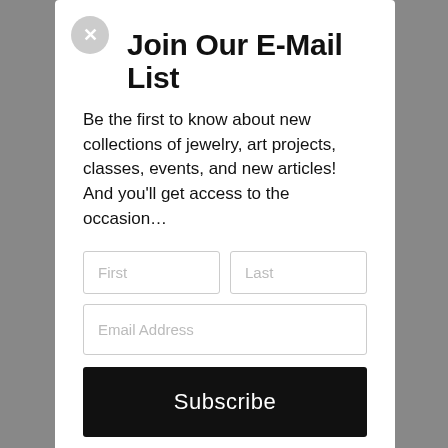Join Our E-Mail List
Be the first to know about new collections of jewelry, art projects, classes, events, and new articles! And you'll get access to the occasion…
First | Last (form fields)
Email Address (form field)
Subscribe
No Thanks!